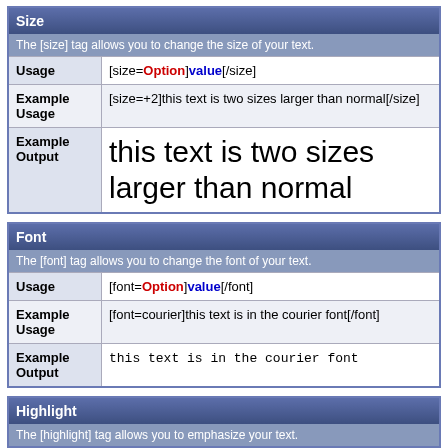| Size |
| --- |
| The [size] tag allows you to change the size of your text. |
| Usage | [size=Option]value[/size] |
| Example Usage | [size=+2]this text is two sizes larger than normal[/size] |
| Example Output | this text is two sizes larger than normal |
| Font |
| --- |
| The [font] tag allows you to change the font of your text. |
| Usage | [font=Option]value[/font] |
| Example Usage | [font=courier]this text is in the courier font[/font] |
| Example Output | this text is in the courier font |
| Highlight |
| --- |
| The [highlight] tag allows you to emphasize your text. |